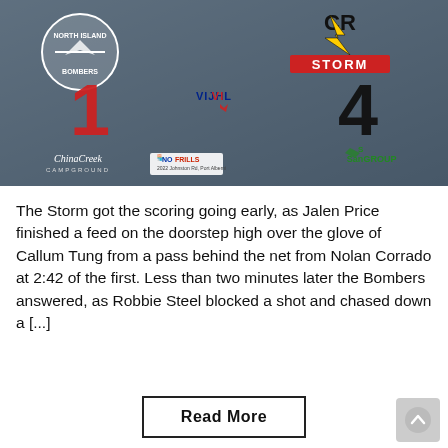[Figure (photo): Hockey game scoreboard graphic showing Bombers (1) vs CR Storm (4) with VIJHL logo, sponsored by China Creek Campground, No Frills, and San Group. Players on ice in background.]
The Storm got the scoring going early, as Jalen Price finished a feed on the doorstep high over the glove of Callum Tung from a pass behind the net from Nolan Corrado at 2:42 of the first. Less than two minutes later the Bombers answered, as Robbie Steel blocked a shot and chased down a [...]
Read More